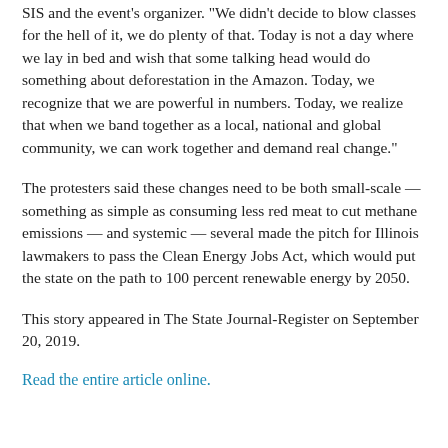SIS and the event's organizer. "We didn't decide to blow classes for the hell of it, we do plenty of that. Today is not a day where we lay in bed and wish that some talking head would do something about deforestation in the Amazon. Today, we recognize that we are powerful in numbers. Today, we realize that when we band together as a local, national and global community, we can work together and demand real change."
The protesters said these changes need to be both small-scale — something as simple as consuming less red meat to cut methane emissions — and systemic — several made the pitch for Illinois lawmakers to pass the Clean Energy Jobs Act, which would put the state on the path to 100 percent renewable energy by 2050.
This story appeared in The State Journal-Register on September 20, 2019.
Read the entire article online.